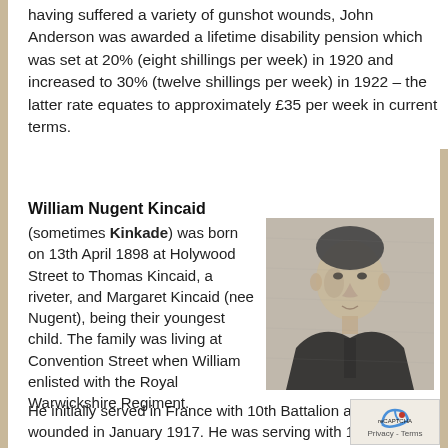having suffered a variety of gunshot wounds, John Anderson was awarded a lifetime disability pension which was set at 20% (eight shillings per week) in 1920 and increased to 30% (twelve shillings per week) in 1922 – the latter rate equates to approximately £35 per week in current terms.
William Nugent Kincaid
(sometimes Kinkade) was born on 13th April 1898 at Holywood Street to Thomas Kincaid, a riveter, and Margaret Kincaid (nee Nugent), being their youngest child. The family was living at Convention Street when William enlisted with the Royal Warwickshire Regiment. He initially served in France with 10th Battalion and wounded in January 1917. He was serving with 1st
[Figure (photo): Black and white portrait photograph of a young man in military uniform, likely World War I era.]